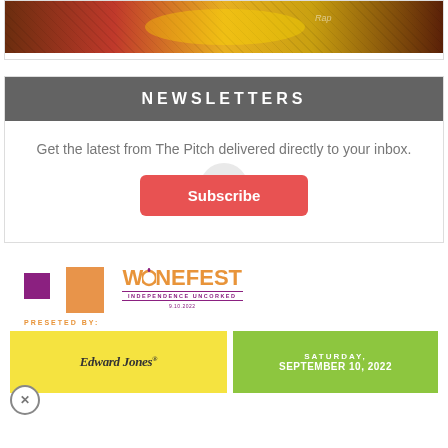[Figure (photo): Colorful event/concert banner image with dark reddish-brown and orange tones, partially visible at top of page]
NEWSLETTERS
Get the latest from The Pitch delivered directly to your inbox.
Subscribe
[Figure (logo): WineFest Independence Uncorked logo with purple and orange color scheme]
PRESETED BY:
[Figure (logo): Edward Jones logo on yellow background]
SATURDAY, SEPTEMBER 10, 2022